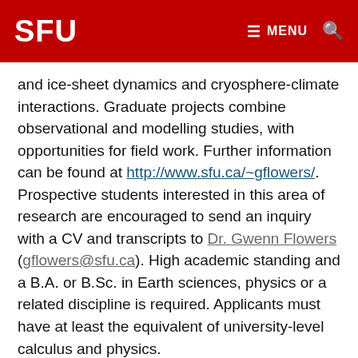SFU   ≡ MENU 🔍
and ice-sheet dynamics and cryosphere-climate interactions. Graduate projects combine observational and modelling studies, with opportunities for field work. Further information can be found at http://www.sfu.ca/~gflowers/. Prospective students interested in this area of research are encouraged to send an inquiry with a CV and transcripts to Dr. Gwenn Flowers (gflowers@sfu.ca). High academic standing and a B.A. or B.Sc. in Earth sciences, physics or a related discipline is required. Applicants must have at least the equivalent of university-level calculus and physics.
HYDROGEOLOGY AND HYDROGEOCHEMISTRY